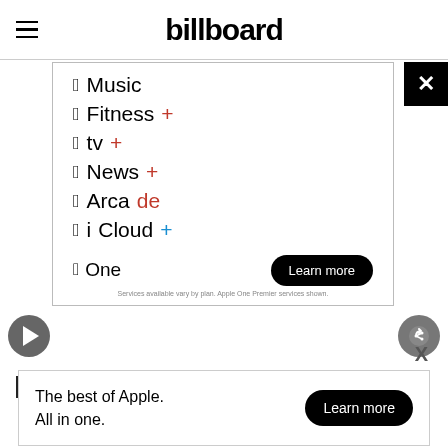billboard
[Figure (screenshot): Apple One advertisement showing Apple services: Music, Fitness+, tv+, News+, Arcade, iCloud+, with Apple One logo and Learn more button. Small text: Services available vary by plan. Apple One Premier services shown.]
[Figure (logo): PMC logo]
[Figure (screenshot): Bottom Apple ad banner: 'The best of Apple. All in one.' with Learn more button]